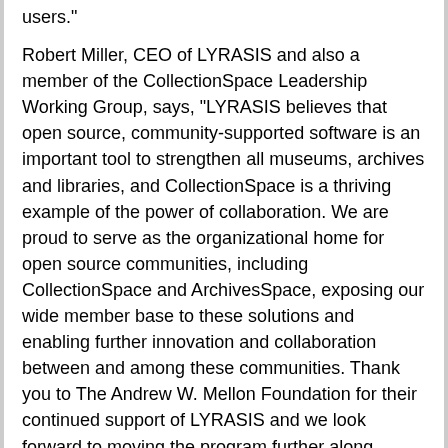users."
Robert Miller, CEO of LYRASIS and also a member of the CollectionSpace Leadership Working Group, says, "LYRASIS believes that open source, community-supported software is an important tool to strengthen all museums, archives and libraries, and CollectionSpace is a thriving example of the power of collaboration. We are proud to serve as the organizational home for open source communities, including CollectionSpace and ArchivesSpace, exposing our wide member base to these solutions and enabling further innovation and collaboration between and among these communities. Thank you to The Andrew W. Mellon Foundation for their continued support of LYRASIS and we look forward to moving the program further along toward wider adoption and sustainability with this award."
About LYRASIS
LYRASIS (www.lyrasis.org), a 501(c)(3) non-profit membership organization, partners with member libraries, archives and museums to create, access and manage information with an emphasis on digital content, while building and sustaining collaboration, enhancing operations and technology, and increasing learning.